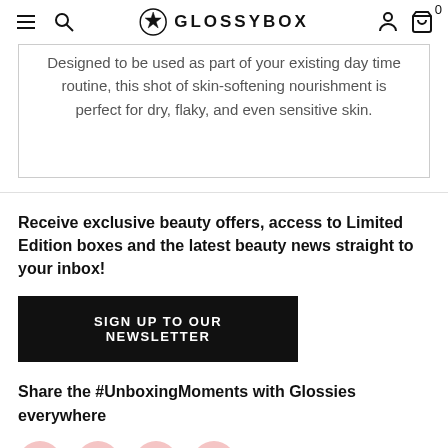GLOSSYBOX navigation bar with menu, search, logo, account, and cart icons
Designed to be used as part of your existing day time routine, this shot of skin-softening nourishment is perfect for dry, flaky, and even sensitive skin.
Receive exclusive beauty offers, access to Limited Edition boxes and the latest beauty news straight to your inbox!
SIGN UP TO OUR NEWSLETTER
Share the #UnboxingMoments with Glossies everywhere